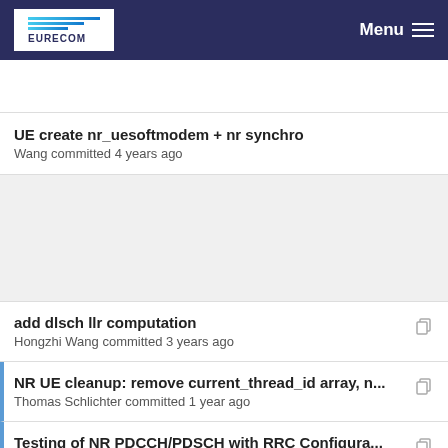EURECOM | Menu
UE create nr_uesoftmodem + nr synchro
Wang committed 4 years ago
add dlsch llr computation
Hongzhi Wang committed 3 years ago
NR UE cleanup: remove current_thread_id array, n...
Thomas Schlichter committed 1 year ago
Testing of NR PDCCH/PDSCH with RRC Configura...
knopp committed 2 years ago
UE create nr_uesoftmodem + nr synchro
Wang committed 4 years ago